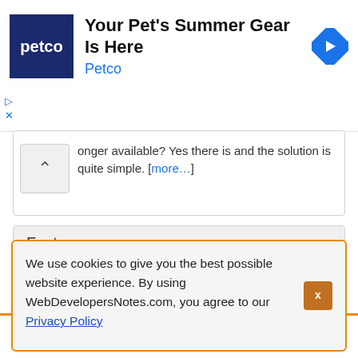[Figure (screenshot): Petco advertisement banner with dark blue Petco logo square, headline 'Your Pet's Summer Gear Is Here', subtitle 'Petco', and a blue diamond navigation arrow icon on the right.]
onger available? Yes there is and the solution is quite simple. [more...]
Fact
Macromedia Flash (now Adobe Flash) started as a simple drawing application called SmartSketch developed by Jonathan Gay. [more...]
We use cookies to give you the best possible website experience. By using WebDevelopersNotes.com, you agree to our Privacy Policy